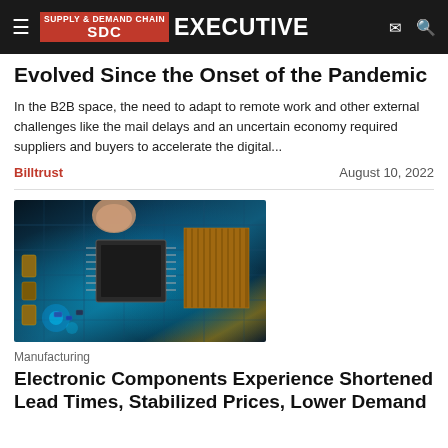Supply & Demand Chain Executive
Evolved Since the Onset of the Pandemic
In the B2B space, the need to adapt to remote work and other external challenges like the mail delays and an uncertain economy required suppliers and buyers to accelerate the digital...
Billtrust    August 10, 2022
[Figure (photo): Close-up photo of a hand installing/touching a CPU chip on a circuit board with blue teal lighting and electronic components visible]
Manufacturing
Electronic Components Experience Shortened Lead Times, Stabilized Prices, Lower Demand